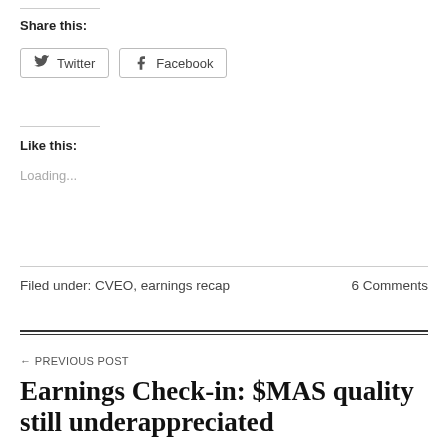Share this:
Twitter  Facebook
Like this:
Loading...
Filed under: CVEO, earnings recap    6 Comments
← PREVIOUS POST
Earnings Check-in: $MAS quality still underappreciated